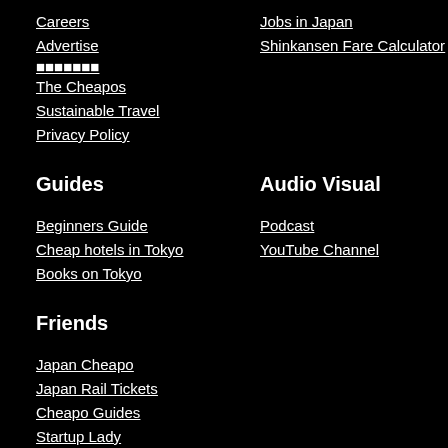Careers
Jobs in Japan
Advertise
Shinkansen Fare Calculator
[garbled Japanese text]
The Cheapos
Sustainable Travel
Privacy Policy
Guides
Audio Visual
Beginners Guide
Podcast
Cheap hotels in Tokyo
YouTube Channel
Books on Tokyo
Friends
Japan Cheapo
Japan Rail Tickets
Cheapo Guides
Startup Lady